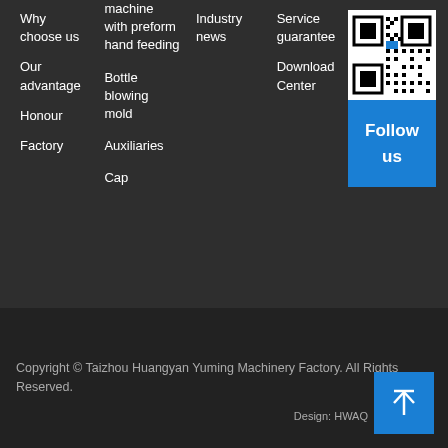Why choose us
Our advantage
Honour
Factory
machine with preform hand feeding
Bottle blowing mold
Auxiliaries
Cap
Industry news
Service guarantee
Download Center
message
Contact information
[Figure (other): QR code for following on social media]
Follow us
Copyright © Taizhou Huangyan Yuming Machinery Factory. All Rights Reserved.
Design: HWAQ